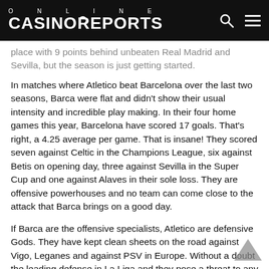ONLINE CASINOREPORTS
place with 9 points behind unbeaten Real Madrid and Sevilla, but the season is just getting started.
In matches where Atletico beat Barcelona over the last two seasons, Barca were flat and didn't show their usual intensity and incredible play making. In their four home games this year, Barcelona have scored 17 goals. That's right, a 4.25 average per game. That is insane! They scored seven against Celtic in the Champions League, six against Betis on opening day, three against Sevilla in the Super Cup and one against Alaves in their sole loss. They are offensive powerhouses and no team can come close to the attack that Barca brings on a good day.
If Barca are the offensive specialists, Atletico are defensive Gods. They have kept clean sheets on the road against Vigo, Leganes and against PSV in Europe. Without a doubt the leading defense in La Liga and they pose a threat to any team.